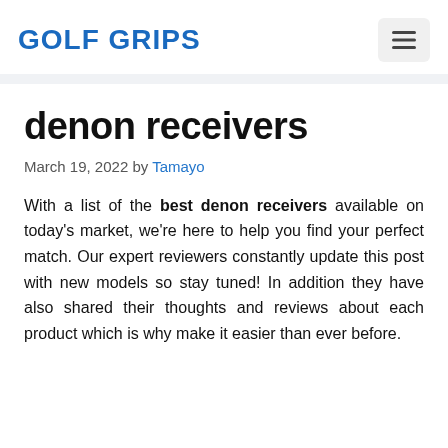GOLF GRIPS
denon receivers
March 19, 2022 by Tamayo
With a list of the best denon receivers available on today's market, we're here to help you find your perfect match. Our expert reviewers constantly update this post with new models so stay tuned! In addition they have also shared their thoughts and reviews about each product which is why make it easier than ever before.